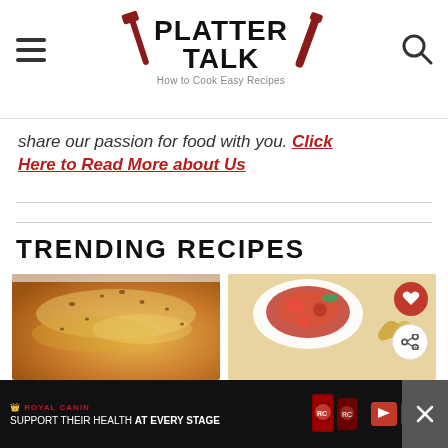PLATTER TALK — How to Cook Easy Recipes
share our passion for food with you. Click Here to Read More about Us
TRENDING RECIPES
[Figure (photo): Close-up of a golden, cheese-topped baked dish]
[Figure (photo): Plate of pasta with tomato sauce and garnish, with heart and share action buttons overlay]
[Figure (photo): Royal Canin advertisement banner — Support Their Health At Every Stage, featuring PetSmart branding]